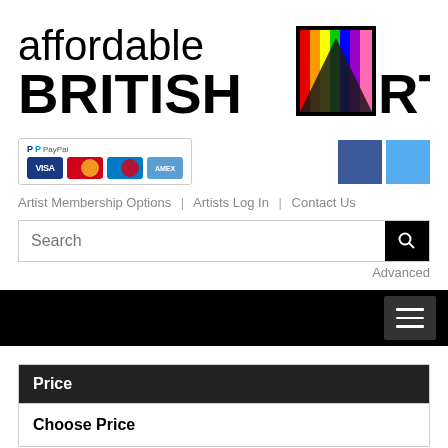[Figure (logo): Affordable British Art logo — text logo with colorful triangle/pyramid icon replacing the 'A' in ART]
[Figure (logo): PayPal accepted payment badge showing VISA, Mastercard, Maestro, and American Express card icons]
[Figure (logo): Social media icons — dark blue Facebook square and light blue Twitter/social square]
Artist Membership Options | Artists Log In | Contact Us
Search
Advanced
Price
Choose Price